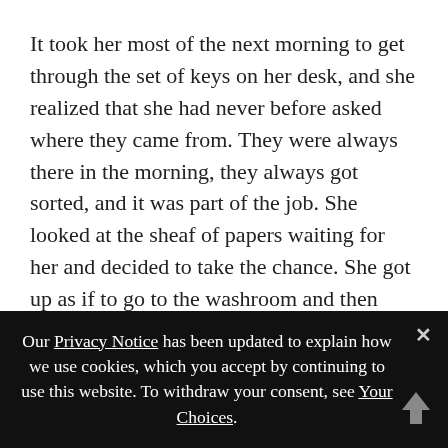It took her most of the next morning to get through the set of keys on her desk, and she realized that she had never before asked where they came from. They were always there in the morning, they always got sorted, and it was part of the job. She looked at the sheaf of papers waiting for her and decided to take the chance. She got up as if to go to the washroom and then followed the pneumatic tubes down the hall past the washroom, through the doors, where she had never gone before.
With all the keys she sorted, she expected to run into locks on one of the doors, or perhaps all of them. She expected to return to old Mrs. Wu, to tell her that she
Our Privacy Notice has been updated to explain how we use cookies, which you accept by continuing to use this website. To withdraw your consent, see Your Choices.